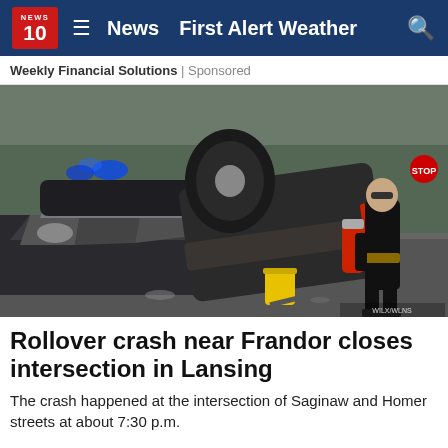NEWS 10  ≡  News  First Alert Weather  🔍
Weekly Financial Solutions | Sponsored
[Figure (photo): Car crash scene showing a rolled-over dark SUV/truck on its side, a heavily damaged police or dark vehicle with crushed front end, a police officer in black uniform holding a fire extinguisher, blue police lights in background, yellow bucket on road, overcast sky with trees and signs in background.]
Rollover crash near Frandor closes intersection in Lansing
The crash happened at the intersection of Saginaw and Homer streets at about 7:30 p.m.